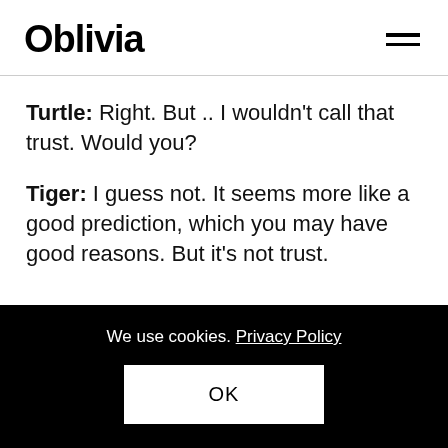Oblivia
Turtle: Right. But .. I wouldn't call that trust. Would you?
Tiger: I guess not. It seems more like a good prediction, which you may have good reasons. But it's not trust.
We use cookies. Privacy Policy  OK